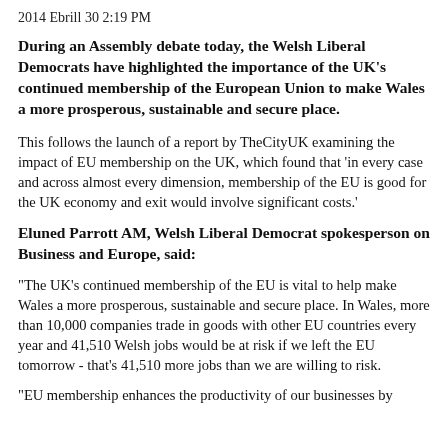2014 Ebrill 30 2:19 PM
During an Assembly debate today, the Welsh Liberal Democrats have highlighted the importance of the UK's continued membership of the European Union to make Wales a more prosperous, sustainable and secure place.
This follows the launch of a report by TheCityUK examining the impact of EU membership on the UK, which found that 'in every case and across almost every dimension, membership of the EU is good for the UK economy and exit would involve significant costs.'
Eluned Parrott AM, Welsh Liberal Democrat spokesperson on Business and Europe, said:
"The UK's continued membership of the EU is vital to help make Wales a more prosperous, sustainable and secure place. In Wales, more than 10,000 companies trade in goods with other EU countries every year and 41,510 Welsh jobs would be at risk if we left the EU tomorrow - that's 41,510 more jobs than we are willing to risk.
"EU membership enhances the productivity of our businesses by